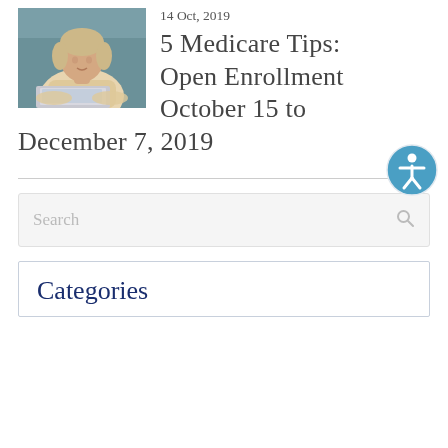14 Oct, 2019
[Figure (photo): Older woman with short blonde hair sitting at a laptop computer, wearing a cream sweater, with a teal/blue sofa background]
5 Medicare Tips: Open Enrollment October 15 to December 7, 2019
[Figure (other): Accessibility icon button — blue circle with white human figure]
Search
Categories